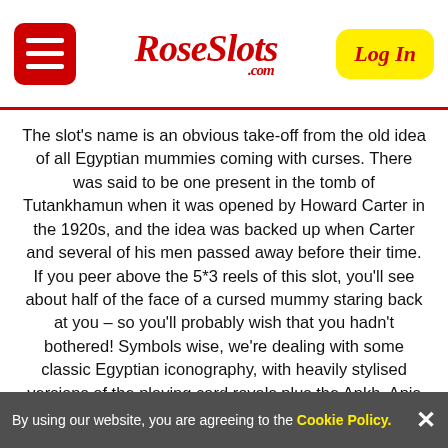RoseSlots.com — Log In
The slot's name is an obvious take-off from the old idea of all Egyptian mummies coming with curses. There was said to be one present in the tomb of Tutankhamun when it was opened by Howard Carter in the 1920s, and the idea was backed up when Carter and several of his men passed away before their time. If you peer above the 5*3 reels of this slot, you'll see about half of the face of a cursed mummy staring back at you – so you'll probably wish that you hadn't bothered! Symbols wise, we're dealing with some classic Egyptian iconography, with heavily stylised versions of the playing card royals plus the Ankh, Apis the bull-headed god, and smiling tomb explorer with a torch. The golden mask of Tutankhamun is wild and brings an x2* multiplier to all wins. If more than one King Tut is involved in a win, the multipliers are added together. Scarab symbols are bonus features and so have a role to play in the slot's bonus features. The mummy skull is scatter, and that has a bonus role, too!
By using our website, you are agreeing to the Cookie Policy.